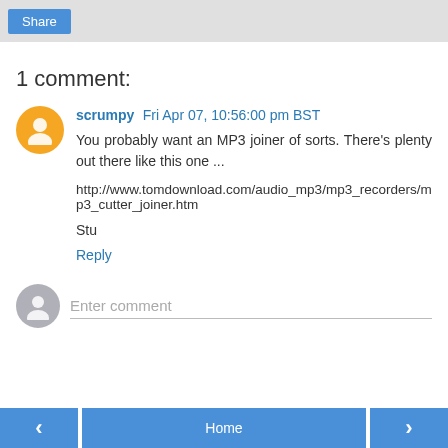Share
1 comment:
scrumpy  Fri Apr 07, 10:56:00 pm BST
You probably want an MP3 joiner of sorts. There's plenty out there like this one ...
http://www.tomdownload.com/audio_mp3/mp3_recorders/mp3_cutter_joiner.htm
Stu
Reply
Enter comment
Home